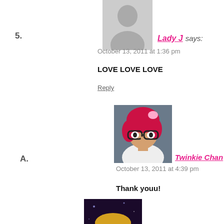[Figure (photo): Gray silhouette avatar placeholder for Lady J]
5. Lady J says:
October 13, 2011 at 1:36 pm
LOVE LOVE LOVE
Reply
[Figure (photo): Photo of Twinkie Chan with red hair and glasses]
A. Twinkie Chan says:
October 13, 2011 at 4:39 pm
Thank youu!
Reply
[Figure (photo): Partial avatar photo at bottom of page]